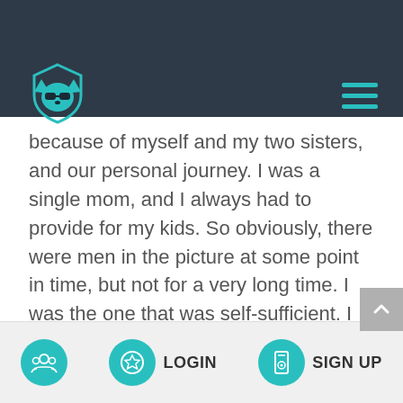[Figure (logo): Teal wolf/fox mascot logo wearing sunglasses, on dark navy header bar]
because of myself and my two sisters, and our personal journey. I was a single mom, and I always had to provide for my kids. So obviously, there were men in the picture at some point in time, but not for a very long time. I was the one that was self-sufficient. I needed to provide for my kids. So I always worked. I had a second job. I did whatever I could to provide financially for my kids.
LOGIN  SIGN UP